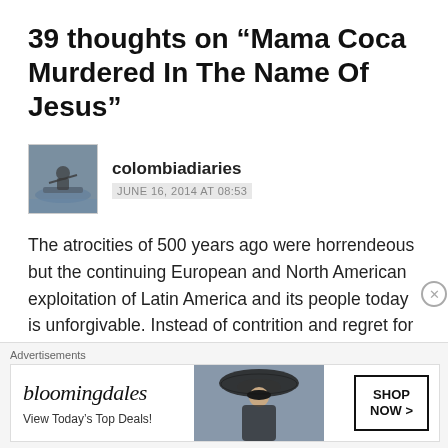39 thoughts on “Mama Coca Murdered In The Name Of Jesus”
[Figure (photo): Avatar photo of a person in a canoe/kayak on water]
colombiadiaries
JUNE 16, 2014 AT 08:53
The atrocities of 500 years ago were horrendeous but the continuing European and North American exploitation of Latin America and its people today is unforgivable. Instead of contrition and regret for the past, arrogance and abuse prevail. No wonder so many revolutionary movements have sprung up in Latin America over the years, even if, only to be squashed as you describe. One of the arrogant
[Figure (screenshot): Bloomingdale's advertisement banner: bloomingdales logo, View Today's Top Deals!, woman in large hat, SHOP NOW > button]